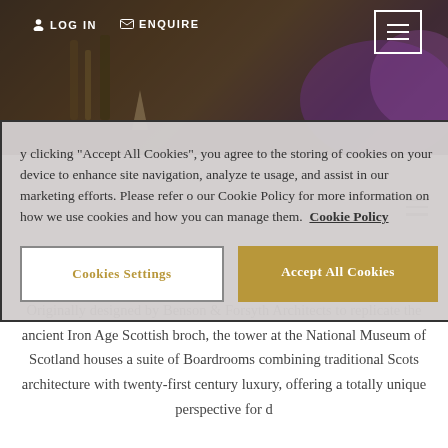[Figure (screenshot): Website header with dark photo background showing bar/dining scene with purple lighting]
LOG IN   ENQUIRE
y clicking "Accept All Cookies", you agree to the storing of cookies on your device to enhance site navigation, analyze te usage, and assist in our marketing efforts. Please refer o our Cookie Policy for more information on how we use cookies and how you can manage them.  Cookie Policy
Cookies Settings   Accept All Cookies
Originally designed by Benson & Forsyth Architects to replicate the ancient Iron Age Scottish broch, the tower at the National Museum of Scotland houses a suite of Boardrooms combining traditional Scots architecture with twenty-first century luxury, offering a totally unique perspective for d